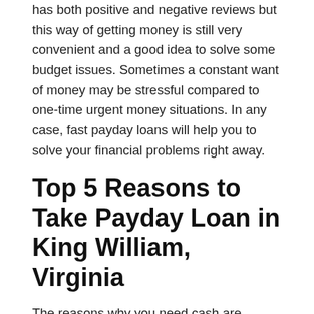has both positive and negative reviews but this way of getting money is still very convenient and a good idea to solve some budget issues. Sometimes a constant want of money may be stressful compared to one-time urgent money situations. In any case, fast payday loans will help you to solve your financial problems right away.
Top 5 Reasons to Take Payday Loan in King William, Virginia
The reasons why you need cash are different, and it depends on a situation. If you experience one of these financial issues, EasyLoansUSA is what you need.
1. A bank does not give you a loan. A financial crisis